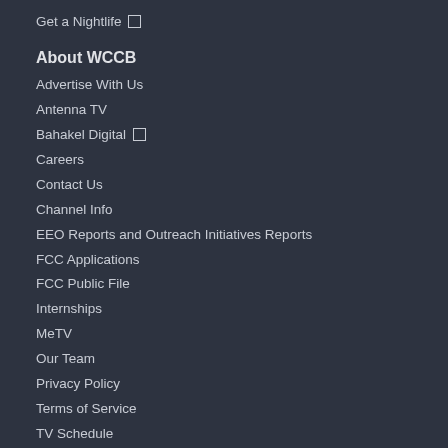Get a Nightlife □
About WCCB
Advertise With Us
Antenna TV
Bahakel Digital □
Careers
Contact Us
Channel Info
EEO Reports and Outreach Initiatives Reports
FCC Applications
FCC Public File
Internships
MeTV
Our Team
Privacy Policy
Terms of Service
TV Schedule